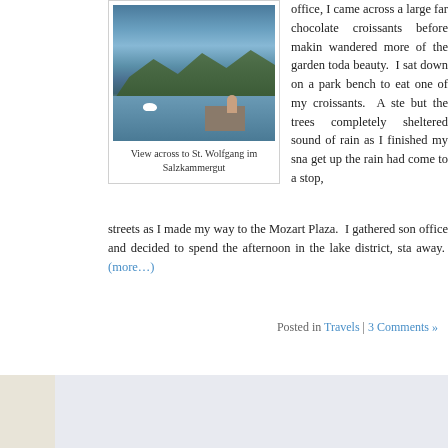[Figure (photo): Photograph showing a lake scene with mountains in background, a person sitting on a dock, and a swan in the water. View across to St. Wolfgang im Salzkammergut.]
View across to St. Wolfgang im Salzkammergut
office, I came across a large far chocolate croissants before makin wandered more of the garden toda beauty. I sat down on a park bench to eat one of my croissants. A ste but the trees completely sheltered sound of rain as I finished my sna get up the rain had come to a stop, streets as I made my way to the Mozart Plaza. I gathered son office and decided to spend the afternoon in the lake district, sta away.
(more…)
Posted in Travels | 3 Comments »
Ken's Life is develop Entries (RSS